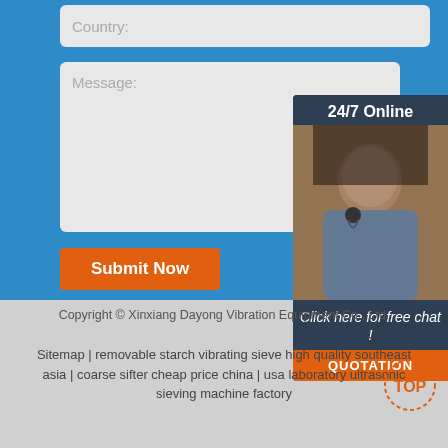[Figure (screenshot): Country input field with placeholder text 'Country:' on blue background]
[Figure (screenshot): Message textarea with placeholder text 'Message:' on blue background]
[Figure (screenshot): Orange Submit Now button]
[Figure (screenshot): 24/7 Online chat widget with customer service representative photo, 'Click here for free chat!' text and orange QUOTATION button]
Copyright © Xinxiang Dayong Vibration Equipment Co., Ltd.
Sitemap | removable starch vibrating sieve high quality southeast asia | coarse sifter cheap price china | usa laboratory ultrasonic sieving machine factory